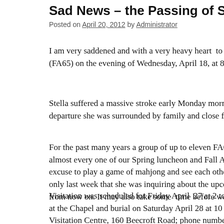Sad News – the Passing of Stella M.Y. Wo...
Posted on April 20, 2012 by Administrator
I am very saddened and with a very heavy heart  to inform you of (FA65) on the evening of Wednesday, April 18, at 8:15 p.m., at
Stella suffered a massive stroke early Monday morning. For her departure she was surrounded by family and close friends at her
For the past many years a group of up to eleven FA61 and some almost every one of our Spring luncheon and Fall AGM together excuse to play a game of mahjong and see each other. Stella was only last week that she was inquiring about the upcoming event from now on. It may also take some  time before we could reviv
Visitation was scheduled for Friday April  27 at 2 to 4 p.m. and at the Chapel and burial on Saturday April 28 at 10 a.m. All are Visitation Centre, 160 Beecroft Road; phone number 416-221-3 Winnie Wong (Woo) have consented to the  announcement of th Ontario communication media.